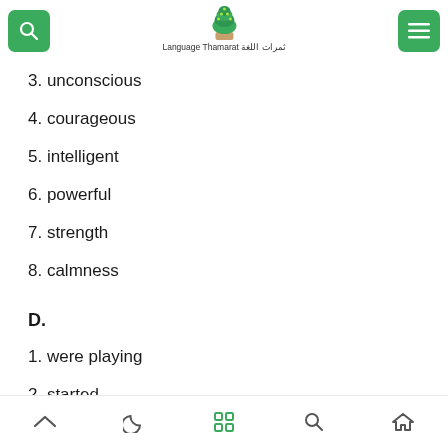Language Thamarat ثمرات اللغة
3. unconscious
4. courageous
5. intelligent
6. powerful
7. strength
8. calmness
D.
1. were playing
2. started
3. was working
navigation icons: up, moon, grid, search, home